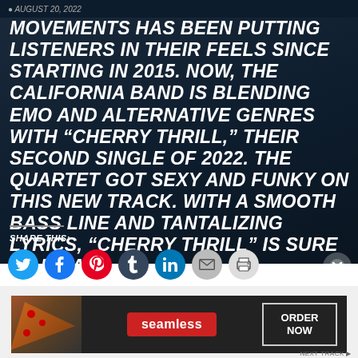AUGUST 20, 2022
MOVEMENTS HAS BEEN PUTTING LISTENERS IN THEIR FEELS SINCE STARTING IN 2015. NOW, THE CALIFORNIA BAND IS BLENDING EMO AND ALTERNATIVE GENRES WITH “CHERRY THRILL,” THEIR SECOND SINGLE OF 2022. THE QUARTET GOT SEXY AND FUNKY ON THIS NEW TRACK. WITH A SMOOTH BASS LINE AND TANTALIZING LYRICS, “CHERRY THRILL” IS SURE TO BE A...
SHARE THIS:
[Figure (infographic): Social sharing icons: Twitter (blue), Facebook (blue), Pinterest (red), Tumblr (dark blue), LinkedIn (blue), Email (grey), Print (light grey). Close button (X) on the right.]
[Figure (infographic): Advertisement banner for Seamless food ordering service. Shows pizza image on the left, Seamless logo in red pill/button in the center, and ORDER NOW button on the right.]